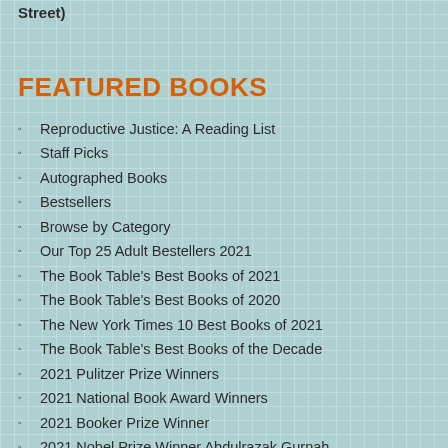Street)
FEATURED BOOKS
Reproductive Justice: A Reading List
Staff Picks
Autographed Books
Bestsellers
Browse by Category
Our Top 25 Adult Bestellers 2021
The Book Table's Best Books of 2021
The Book Table's Best Books of 2020
The New York Times 10 Best Books of 2021
The Book Table's Best Books of the Decade
2021 Pulitzer Prize Winners
2021 National Book Award Winners
2021 Booker Prize Winner
2021 Nobel Prize Winner Abdulrazak Gurnah
2021 Caldecott, Newbery & Other ALA Medal Winners